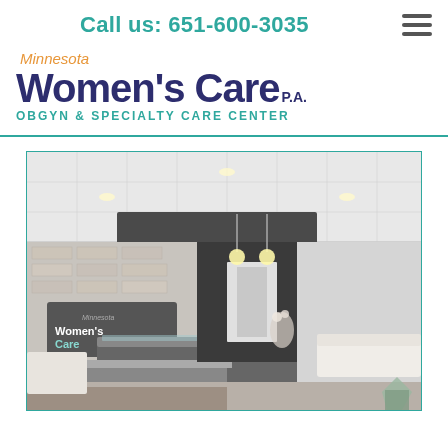Call us: 651-600-3035
[Figure (logo): Minnesota Women's Care P.A. OBGYN & Specialty Care Center logo with teal and navy blue text and orange italic 'Minnesota' above]
[Figure (photo): Interior photo of Minnesota Women's Care P.A. medical office reception area — modern white and gray design with reception desk, waiting area, white couches, pendant lights, and Minnesota Women's Care logo signage on brick wall]